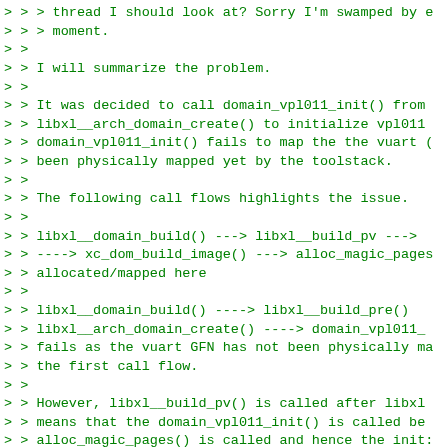> > > thread I should look at? Sorry I'm swamped by e
> > > moment.
> >
> > I will summarize the problem.
> >
> > It was decided to call domain_vpl011_init() from
> > libxl__arch_domain_create() to initialize vpl011
> > domain_vpl011_init() fails to map the the vuart (
> > been physically mapped yet by the toolstack.
> >
> > The following call flows highlights the issue.
> >
> > libxl__domain_build() ---> libxl__build_pv --->
> > ----> xc_dom_build_image() ---> alloc_magic_pages
> > allocated/mapped here
> >
> > libxl__domain_build() ----> libxl__build_pre()
> > libxl__arch_domain_create() ----> domain_vpl011_
> > fails as the vuart GFN has not been physically ma
> > the first call flow.
> >
> > However, libxl__build_pv() is called after libxl
> > means that the domain_vpl011_init() is called be
> > alloc_magic_pages() is called and hence the init:
> >
> > For that reason, I had introduced a new function
> > libxl__arch_domain_create_finish() which will be
> > libxl__build_post(). I moved the domain_vpl011_i
> > Julien pointed out that vuart should be initializ
> > libxl__arch_domain_create() function.
>
> libxl__arch_domain_create() should be...